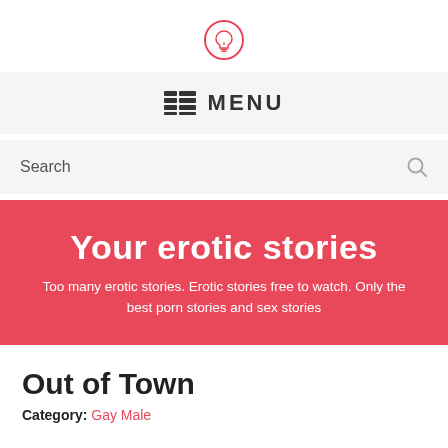[Figure (logo): Red circle with a lightbulb icon inside, outlined in red/pink]
MENU
Search
Your erotic stories
Too many erotic stories. Erotic stories free to watch. Only the best porn stories and sex stories
Out of Town
Category: Gay Male